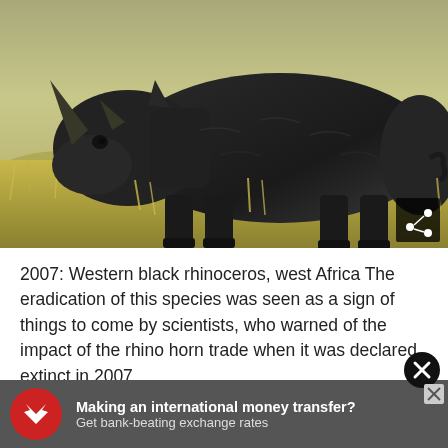[Figure (photo): A black rhinoceros standing in dry grassland savanna, photographed from the side. The rhino is dark-colored with two horns visible. The background shows golden-brown dry grass and scrubland.]
2007: Western black rhinoceros, west Africa The eradication of this species was seen as a sign of things to come by scientists, who warned of the impact of the rhino horn trade when it was declared extinct in 2007.
[Figure (infographic): Advertisement banner: OFX logo (red circle with white bird/eagle). Text: 'Making an international money transfer? Get bank-beating exchange rates'. Close button (X) in top right.]